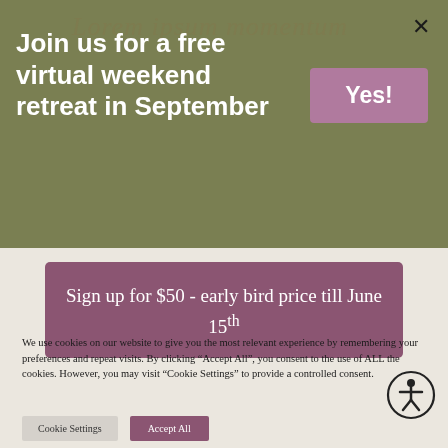Join us for a free virtual weekend retreat in September
[Figure (other): Yes! button - mauve/purple rounded rectangle button]
Sign up for $50 - early bird price till June 15th
[Figure (other): Accessibility icon - person in circle symbol]
We use cookies on our website to give you the most relevant experience by remembering your preferences and repeat visits. By clicking “Accept All”, you consent to the use of ALL the cookies. However, you may visit "Cookie Settings" to provide a controlled consent.
Cookie Settings
Accept All